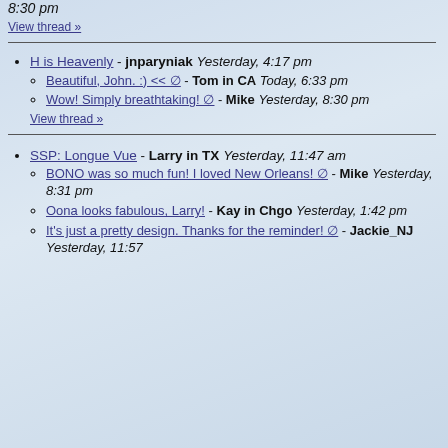8:30 pm
View thread »
H is Heavenly - jnparyniak Yesterday, 4:17 pm
Beautiful, John. :) << ⊘ - Tom in CA Today, 6:33 pm
Wow! Simply breathtaking! ⊘ - Mike Yesterday, 8:30 pm
View thread »
SSP: Longue Vue - Larry in TX Yesterday, 11:47 am
BONO was so much fun! I loved New Orleans! ⊘ - Mike Yesterday, 8:31 pm
Oona looks fabulous, Larry! - Kay in Chgo Yesterday, 1:42 pm
It's just a pretty design. Thanks for the reminder! ⊘ - Jackie_NJ Yesterday, 11:57